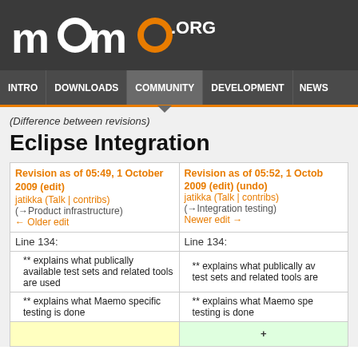maemo.org
INTRO | DOWNLOADS | COMMUNITY | DEVELOPMENT | NEWS
(Difference between revisions)
Eclipse Integration
| Revision as of 05:49, 1 October 2009 (edit)
jatikka (Talk | contribs)
(→Product infrastructure)
← Older edit | Revision as of 05:52, 1 October 2009 (edit) (undo)
jatikka (Talk | contribs)
(→Integration testing)
Newer edit → |
| --- | --- |
| Line 134: | Line 134: |
| ** explains what publically available test sets and related tools are used | ** explains what publically available test sets and related tools are used |
| ** explains what Maemo specific testing is done | ** explains what Maemo specific testing is done |
|  | + |